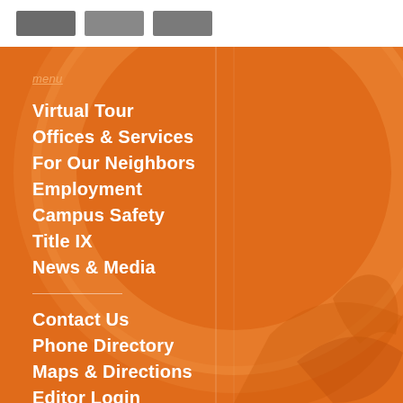[Figure (screenshot): Three gray navigation button placeholders in top white bar]
menu
Virtual Tour
Offices & Services
For Our Neighbors
Employment
Campus Safety
Title IX
News & Media
Contact Us
Phone Directory
Maps & Directions
Editor Login